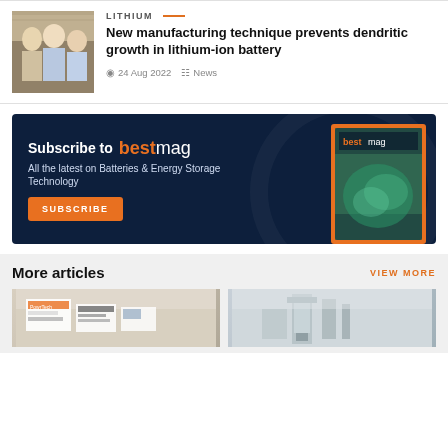[Figure (photo): Photo of researchers, three people smiling in a lab/office setting]
LITHIUM
New manufacturing technique prevents dendritic growth in lithium-ion battery
24 Aug 2022   News
[Figure (infographic): Subscribe to bestmag banner ad. Dark navy background. Text: Subscribe to bestmag. All the latest on Batteries & Energy Storage Technology. Orange SUBSCRIBE button. Magazine image on right side.]
More articles
VIEW MORE
[Figure (photo): Thumbnail photo showing paper/labels on a surface, PowrTech brand visible]
[Figure (photo): Thumbnail photo showing laboratory equipment, grey/metallic tone]